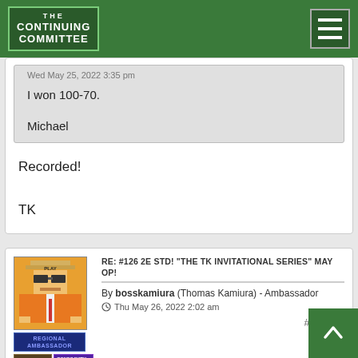[Figure (logo): The Continuing Committee logo - green background with white bordered text, hamburger menu icon top right]
Wed May 25, 2022 3:35 pm
I won 100-70.

Michael
Recorded!

TK
RE: #126 2E STD! "THE TK INVITATIONAL SERIES" MAY OP!
By bosskamiura (Thomas Kamiura) - Ambassador - Thu May 26, 2022 2:02 am
#577776
[Figure (illustration): TWO ROUNDS logo/wordmark with stylized text]
Welcome, to all men and women with thirst for